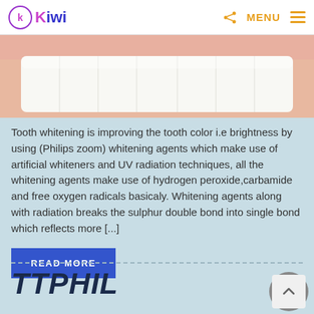Kiwi — MENU
[Figure (photo): Close-up photo of white teeth/smile from above]
Tooth whitening is improving the tooth color i.e brightness by using (Philips zoom) whitening agents which make use of artificial whiteners and UV radiation techniques, all the whitening agents make use of hydrogen peroxide,carbamide and free oxygen radicals basicaly. Whitening agents along with radiation breaks the sulphur double bond into single bond which reflects more [...]
READ MORE
TTPHIL